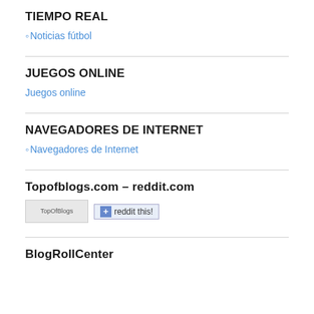TIEMPO REAL
◦Noticias fútbol
JUEGOS ONLINE
Juegos online
NAVEGADORES DE INTERNET
◦Navegadores de Internet
Topofblogs.com – reddit.com
[Figure (other): TopOfBlogs badge image and reddit this! button]
BlogRollCenter